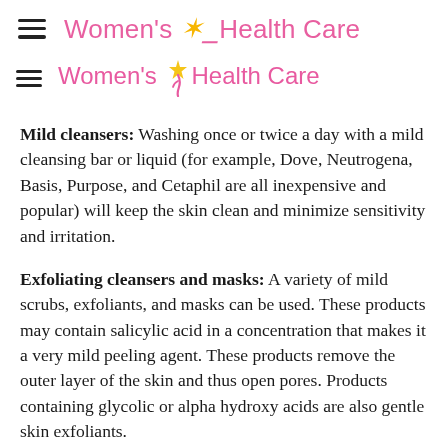Women's Health Care
Mild cleansers: Washing once or twice a day with a mild cleansing bar or liquid (for example, Dove, Neutrogena, Basis, Purpose, and Cetaphil are all inexpensive and popular) will keep the skin clean and minimize sensitivity and irritation.
Exfoliating cleansers and masks: A variety of mild scrubs, exfoliants, and masks can be used. These products may contain salicylic acid in a concentration that makes it a very mild peeling agent. These products remove the outer layer of the skin and thus open pores. Products containing glycolic or alpha hydroxy acids are also gentle skin exfoliants.
Retinol: Not to be confused with the prescription medication Retin-A, this derivative of vitamin A can help promote skin peeling.